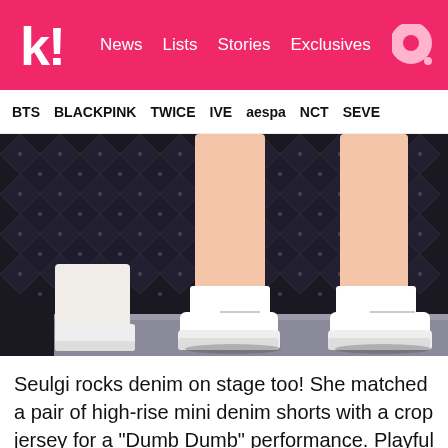k! News  Lists  Stories  Exclusives
BTS  BLACKPINK  TWICE  IVE  aespa  NCT  SEVE
[Figure (photo): Close-up photo of a performer's legs on stage wearing white high-top sneakers with white socks and very short denim shorts, against a dark quilted backdrop. A stage floor is visible at the bottom.]
Seulgi rocks denim on stage too! She matched a pair of high-rise mini denim shorts with a crop jersey for a "Dumb Dumb" performance. Playful